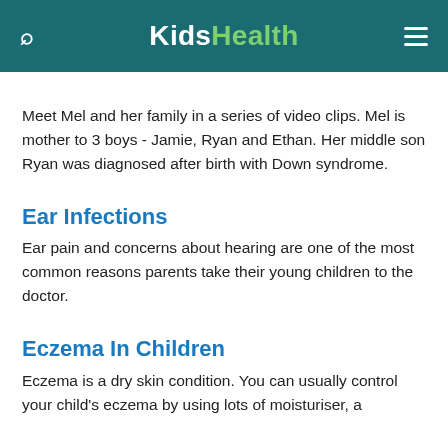KidsHealth
Meet Mel and her family in a series of video clips. Mel is mother to 3 boys - Jamie, Ryan and Ethan. Her middle son Ryan was diagnosed after birth with Down syndrome.
Ear Infections
Ear pain and concerns about hearing are one of the most common reasons parents take their young children to the doctor.
Eczema In Children
Eczema is a dry skin condition. You can usually control your child's eczema by using lots of moisturiser, a